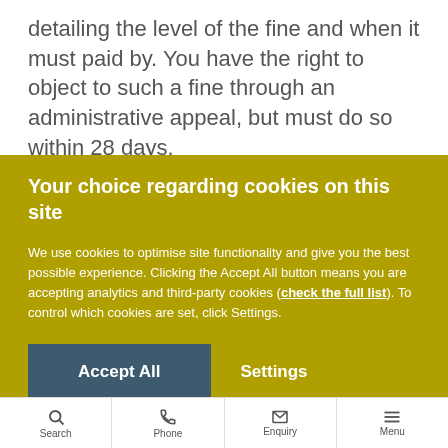detailing the level of the fine and when it must paid by. You have the right to object to such a fine through an administrative appeal, but must do so within 28 days.
Your choice regarding cookies on this site
We use cookies to optimise site functionality and give you the best possible experience. Clicking the Accept All button means you are accepting analytics and third-party cookies (check the full list). To control which cookies are set, click Settings.
Accept All | Settings
Search | Phone | Enquiry | Menu